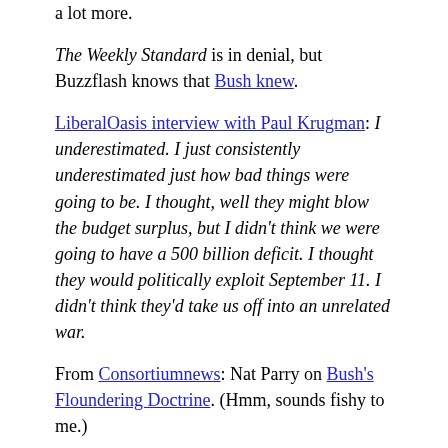a lot more.
The Weekly Standard is in denial, but Buzzflash knows that Bush knew.
LiberalOasis interview with Paul Krugman: I underestimated. I just consistently underestimated just how bad things were going to be. I thought, well they might blow the budget surplus, but I didn't think we were going to have a 500 billion deficit. I thought they would politically exploit September 11. I didn't think they'd take us off into an unrelated war.
From Consortiumnews: Nat Parry on Bush's Floundering Doctrine. (Hmm, sounds fishy to me.)
Two Glasses needs to learn about permalinks next, but meanwhile, there's currently a neat summing up of Josh Marshall's article in The Washington Monthly about why the Bushistas lie, along with a pointer to an article in The Nation by Joe